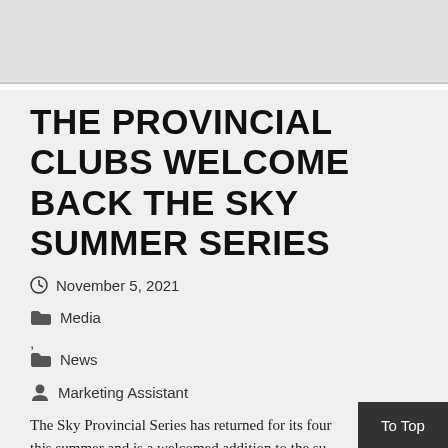[Figure (other): Gray top banner image area]
THE PROVINCIAL CLUBS WELCOME BACK THE SKY SUMMER SERIES
November 5, 2021
Media
,
News
Marketing Assistant
The Sky Provincial Series has returned for its four this summer and is a welcomed addition to the su
To Top